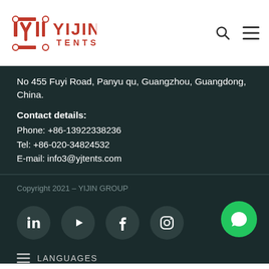[Figure (logo): YIJIN TENTS logo in red with stylized Y and J icons]
No 455 Fuyi Road, Panyu qu, Guangzhou, Guangdong, China.
Contact details:
Phone: +86-13922338236
Tel: +86-020-34824532
E-mail: info3@yjtents.com
Copyright 2021 – YIJIN GROUP
[Figure (infographic): Social media icons: LinkedIn, YouTube, Facebook, Instagram; green chat bubble icon]
LANGUAGES